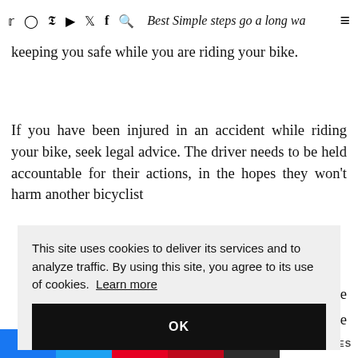Social media icons (Twitter, Instagram, Pinterest, YouTube, TikTok, Facebook, Search) and hamburger menu
keeping you safe while you are riding your bike.
If you have been injured in an accident while riding your bike, seek legal advice. The driver needs to be held accountable for their actions, in the hopes they won't harm another bicyclist [partially obscured] handle [partially obscured] have [partially obscured] The [partially obscured] the [partially obscured]
This site uses cookies to deliver its services and to analyze traffic. By using this site, you agree to its use of cookies. Learn more
OK
HARES (SHARES)